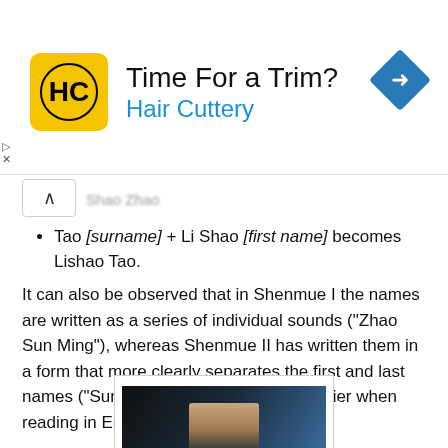[Figure (infographic): Advertisement banner for Hair Cuttery with logo, text 'Time For a Trim?' and 'Hair Cuttery' in blue, and a blue diamond navigation arrow icon on the right.]
Shao Zhao (blurred/partially visible)
Tao [surname] + Li Shao [first name] becomes Lishao Tao.
It can also be observed that in Shenmue I the names are written as a series of individual sounds ("Zhao Sun Ming"), whereas Shenmue II has written them in a form that more clearly separates the first and last names ("Sunming Zhao"), which is friendlier when reading in English:
Exceptions
But what about the case of Lan Di? His name stays the same in both games, as can be seen in the images below.
[Figure (screenshot): Screenshot from a video game showing a dark scene.]